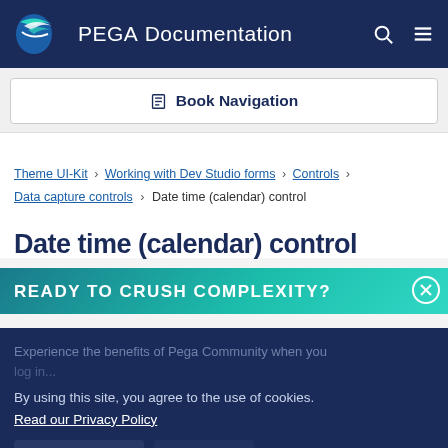PEGA Documentation
Book Navigation
Theme UI-Kit › Working with Dev Studio forms › Controls › Data capture controls › Date time (calendar) control
Date time (calendar) control
READY TO CRUSH COMPLEXITY?
By using this site, you agree to the use of cookies. Read our Privacy Policy
Accept and continue | About cookies